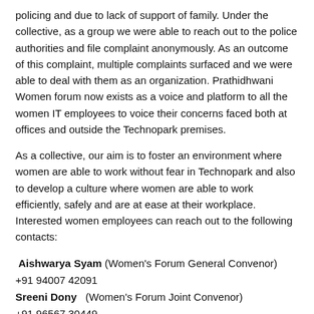policing and due to lack of support of family. Under the collective, as a group we were able to reach out to the police authorities and file complaint anonymously. As an outcome of this complaint, multiple complaints surfaced and we were able to deal with them as an organization. Prathidhwani Women forum now exists as a voice and platform to all the women IT employees to voice their concerns faced both at offices and outside the Technopark premises.
As a collective, our aim is to foster an environment where women are able to work without fear in Technopark and also to develop a culture where women are able to work efficiently, safely and are at ease at their workplace.
Interested women employees can reach out to the following contacts:
Aishwarya Syam (Women's Forum General Convenor)
+91 94007 42091
Sreeni Dony  (Women's Forum Joint Convenor)
+91 96567 30449
Shari Gauri (Women's Forum Joint Convenor)
+91 81294 66431